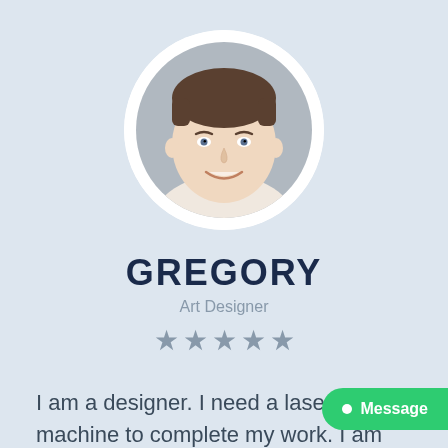[Figure (photo): Circular profile photo of a young man with short dark hair, smiling, against a grey background, inside a white circular frame]
GREGORY
Art Designer
[Figure (other): Five grey star rating icons]
I am a designer. I need a laser cutting machine to complete my work. I am not a factory engaged in a